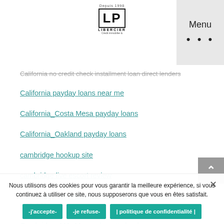[Figure (logo): LP Libercier logo with 'Depuis 1998' text above, enclosed in a bracket-style box]
Menu
California no credit check installment loan direct lenders
California payday loans near me
California_Costa Mesa payday loans
California_Oakland payday loans
cambridge hookup site
cambridge live escort review
Cambridge+MA+Massachusetts browse around this web-site
Cambridge+MA+Massachusetts hookup
Nous utilisons des cookies pour vous garantir la meilleure expérience, si vous continuez à utiliser ce site, nous supposerons que vous en êtes satisfait.
-j'accepte-
-je refuse-
| politique de confidentialité |